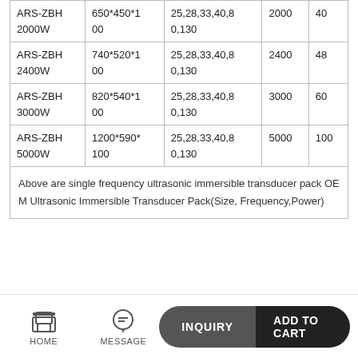| Model | Size(mm) | Frequency(KHz) | Power(W) | Transducer qty |
| --- | --- | --- | --- | --- |
| ARS-ZBH 2000W | 650*450*100 | 25,28,33,40,80,130 | 2000 | 40 |
| ARS-ZBH 2400W | 740*520*100 | 25,28,33,40,80,130 | 2400 | 48 |
| ARS-ZBH 3000W | 820*540*100 | 25,28,33,40,80,130 | 3000 | 60 |
| ARS-ZBH 5000W | 1200*590*100 | 25,28,33,40,80,130 | 5000 | 100 |
| Above are single frequency ultrasonic immersible transducer pack OEM Ultrasonic Immersible Transducer Pack(Size, Frequency,Power) |  |  |  |  |
HOME  MESSAGE  INQUIRY  ADD TO CART